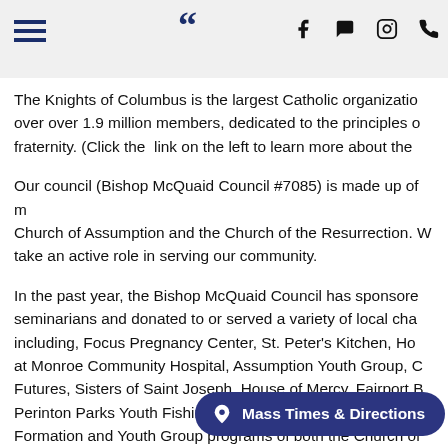Navigation header with hamburger menu, quotation mark, and social icons (Facebook, chat, Instagram, phone)
The Knights of Columbus is the largest Catholic organization over over 1.9 million members, dedicated to the principles o fraternity. (Click the link on the left to learn more about the
Our council (Bishop McQuaid Council #7085) is made up of m Church of Assumption and the Church of the Resurrection. W take an active role in serving our community.
In the past year, the Bishop McQuaid Council has sponsored seminarians and donated to or served a variety of local char including, Focus Pregnancy Center, St. Peter's Kitchen, Hos at Monroe Community Hospital, Assumption Youth Group, C Futures, Sisters of Saint Joseph, House of Mercy, Fairport B Perinton Parks Youth Fishing Derby, to name a few. We also Formation and Youth Group programs of both the Church of Church of the Resurrection, as well as Assumption's Mercy M Caring & Sharing Ministr
Mass Times & Directions